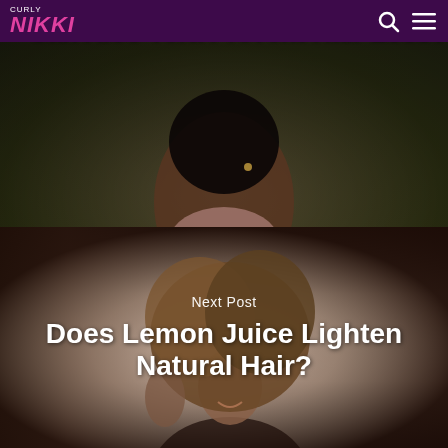CURLY NIKKI
[Figure (photo): Dark-skinned woman with curly natural hair, wearing a pink top, photographed outdoors with green foliage background]
Can Aloe Vera Prevent Hair Loss?
[Figure (photo): Woman with large curly brown afro hair, smiling, wearing a black top, photographed against a light gray background]
Next Post
Does Lemon Juice Lighten Natural Hair?